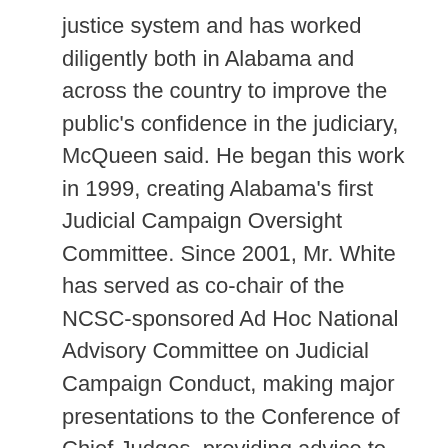justice system and has worked diligently both in Alabama and across the country to improve the public's confidence in the judiciary, McQueen said. He began this work in 1999, creating Alabama's first Judicial Campaign Oversight Committee. Since 2001, Mr. White has served as co-chair of the NCSC-sponsored Ad Hoc National Advisory Committee on Judicial Campaign Conduct, making major presentations to the Conference of Chief Judges, providing advice to state supreme courts, and serving as lead faculty for NCSC-sponsored workshops on establishing state judicial campaign conduct committees. Nine new statewide judicial campaign oversight committees were established in the last two years, more than doubling the number of existing committees.